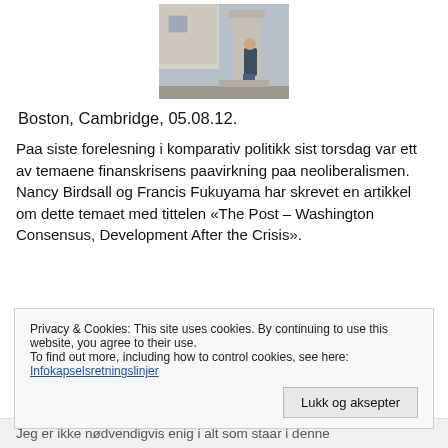[Figure (photo): A person standing in front of a large column or monument outdoors, buildings visible in background]
Boston, Cambridge, 05.08.12.
Paa siste forelesning i komparativ politikk sist torsdag var ett av temaene finanskrisens paavirkning paa neoliberalismen. Nancy Birdsall og Francis Fukuyama har skrevet en artikkel om dette temaet med tittelen «The Post – Washington Consensus, Development After the Crisis».
Privacy & Cookies: This site uses cookies. By continuing to use this website, you agree to their use.
To find out more, including how to control cookies, see here:
Infokapselsretningslinjer
Lukk og aksepter
Jeg er ikke nødvendigvis enig i alt som staar i denne